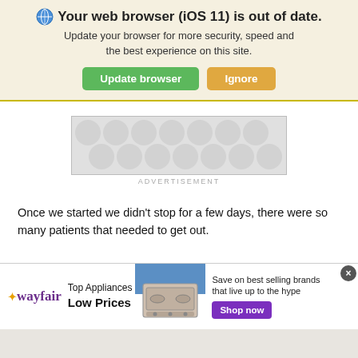Your web browser (iOS 11) is out of date.
Update your browser for more security, speed and the best experience on this site.
[Figure (screenshot): Browser update banner with 'Update browser' green button and 'Ignore' tan button]
[Figure (other): Advertisement banner placeholder with polka-dot pattern]
ADVERTISEMENT
Once we started we didn't stop for a few days, there were so many patients that needed to get out.
Joe: What were the conditions like inside the hospital?
Kitty: Pretty cha...al. Part of the hospital's exterior wall had
[Figure (other): Wayfair advertisement banner: Top Appliances Low Prices, Save on best selling brands that live up to the hype, Shop now button]